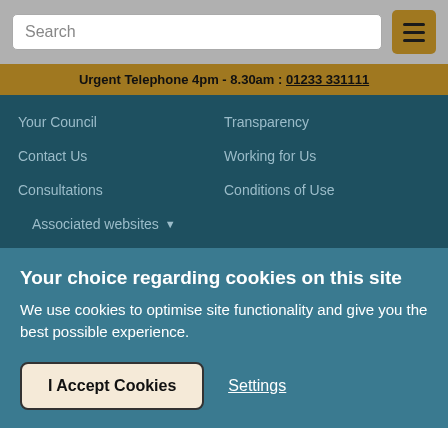[Figure (screenshot): Search input box and hamburger menu button on grey background]
Urgent Telephone 4pm - 8.30am : 01233 331111
Your Council
Transparency
Contact Us
Working for Us
Consultations
Conditions of Use
Associated websites ▼
[Figure (other): Social media icons: Facebook, Twitter, LinkedIn, and another icon on dark teal background]
Your choice regarding cookies on this site
We use cookies to optimise site functionality and give you the best possible experience.
I Accept Cookies
Settings